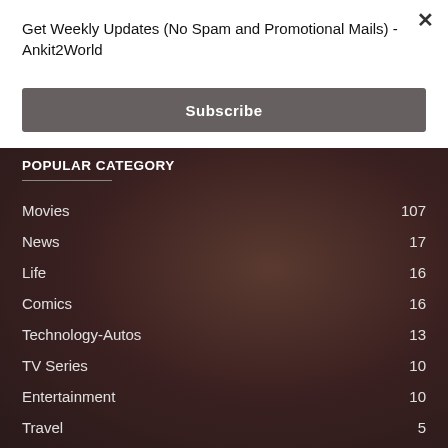Get Weekly Updates (No Spam and Promotional Mails) - Ankit2World
×
Subscribe
POPULAR CATEGORY
Movies 107
News 17
Life 16
Comics 16
Technology-Autos 13
TV Series 10
Entertainment 10
Travel 5